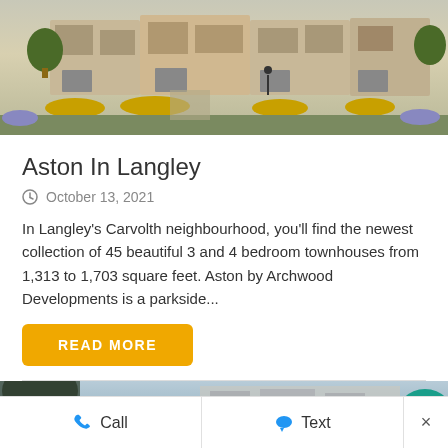[Figure (photo): Exterior rendering of townhouses in Langley with green landscaping, yellow flowering bushes, and a pathway with a person walking.]
Aston In Langley
October 13, 2021
In Langley's Carvolth neighbourhood, you'll find the newest collection of 45 beautiful 3 and 4 bedroom townhouses from 1,313 to 1,703 square feet. Aston by Archwood Developments is a parkside...
[Figure (photo): Partial photo of another building or development, cropped at bottom of page.]
Call   Text   ×